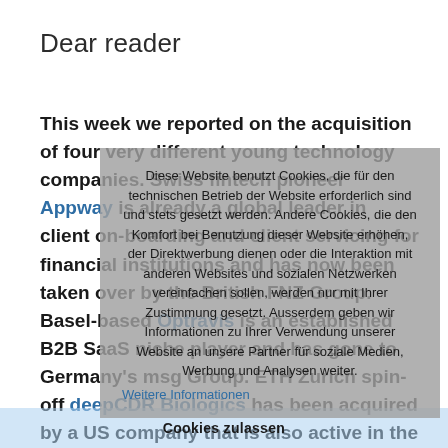Dear reader
This week we reported on the acquisition of four very different young technology companies. Swiss fintech pioneer Appway is already a global leader in client on-boarding and client servicing for financial institutions and has now been taken over by the British FNZ Group. Basel-based Optravis is an established B2B SaaS niche player and has gone to Germany's msg Group. ETH Zurich spin-off deepCDR Biologics has been acquired by a US company that is also active in the field of antibody discovery and optimisation. Finally,
[Figure (infographic): Cookie consent overlay in German: 'Diese Website benutzt Cookies, die für den technischen Betrieb der Website erforderlich sind und stets gesetzt werden. Andere Cookies, die den Komfort bei Benutzung dieser Website erhöhen, der Direktwerbung dienen oder die Interaktion mit anderen Websites und sozialen Netzwerken vereinfachen sollen, werden nur mit Ihrer Zustimmung gesetzt. Ausserdem geben wir Informationen zu Ihrer Verwendung unserer Website an unsere Partner für soziale Medien, Werbung und Analysen weiter. Weitere Informationen' with a 'Cookies zulassen' button.]